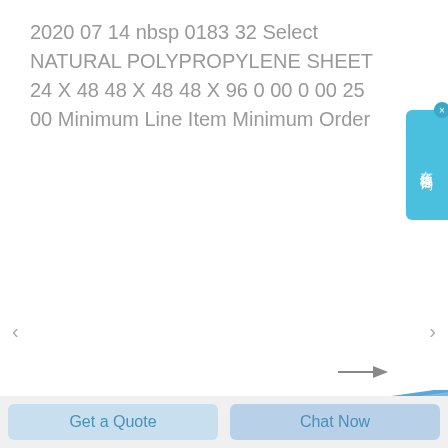2020 07 14 nbsp 0183 32 Select NATURAL POLYPROPYLENE SHEET 24 X 48 48 X 48 48 X 96 0 00 0 00 25 00 Minimum Line Item Minimum Order
[Figure (photo): Blue plastic cylindrical pipe connectors/couplings with black gear-like internal mechanism visible through a side opening, photographed on white background]
Get a Quote
Chat Now